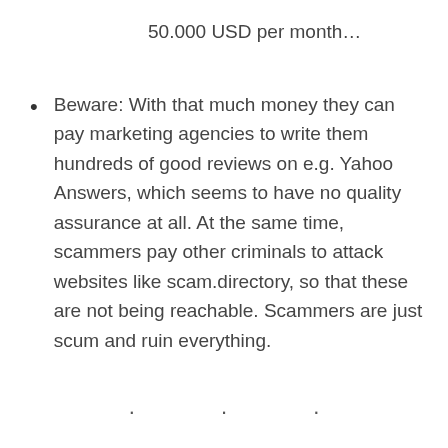50.000 USD per month…
Beware: With that much money they can pay marketing agencies to write them hundreds of good reviews on e.g. Yahoo Answers, which seems to have no quality assurance at all. At the same time, scammers pay other criminals to attack websites like scam.directory, so that these are not being reachable. Scammers are just scum and ruin everything.
. . .